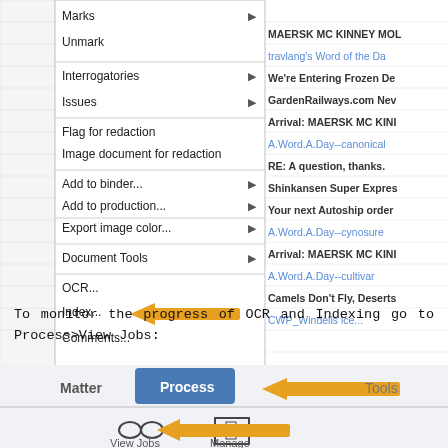[Figure (screenshot): Context menu screenshot showing options: Marks (with arrow), Unmark, Interrogatories (with arrow), Issues (with arrow), Flag for redaction, Image document for redaction, Add to binder... (with arrow), Add to production... (with arrow), Export image color... (with arrow), Document Tools (with arrow), OCR..., Index... (with orange arrow pointing left), Comments... On the right side is a document list showing email subjects. Index... has an orange arrow pointing to it.]
To monitor the progress of OCR and Indexing go to Process>View Jobs:
[Figure (screenshot): Screenshot of application toolbar showing tabs: Matter, Process (highlighted in blue with orange arrow pointing to it), a partially visible tab, Tools, Drafts. Below is a View Jobs icon (glasses icon) with an orange arrow pointing to it, and a Manage icon.]